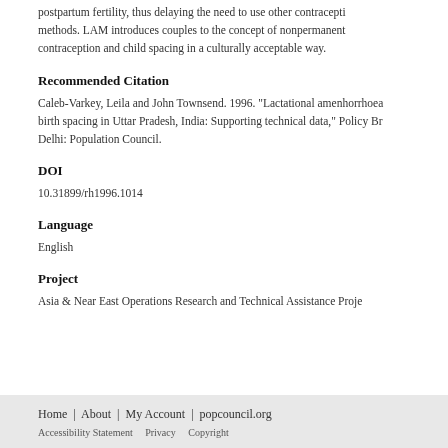postpartum fertility, thus delaying the need to use other contraceptive methods. LAM introduces couples to the concept of nonpermanent contraception and child spacing in a culturally acceptable way.
Recommended Citation
Caleb-Varkey, Leila and John Townsend. 1996. "Lactational amenhorrhoea birth spacing in Uttar Pradesh, India: Supporting technical data," Policy Br Delhi: Population Council.
DOI
10.31899/rh1996.1014
Language
English
Project
Asia & Near East Operations Research and Technical Assistance Proje
Home | About | My Account | popcouncil.org
Accessibility Statement   Privacy   Copyright